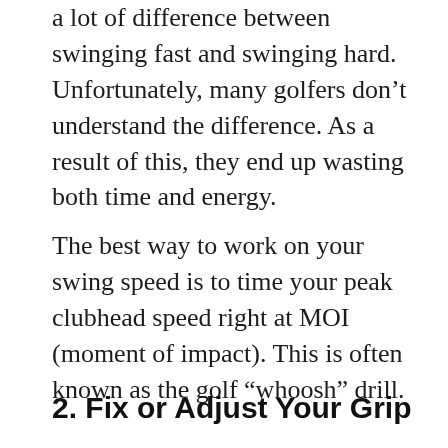a lot of difference between swinging fast and swinging hard. Unfortunately, many golfers don’t understand the difference. As a result of this, they end up wasting both time and energy.
The best way to work on your swing speed is to time your peak clubhead speed right at MOI (moment of impact). This is often known as the golf “whoosh” drill.
2. Fix or Adjust Your Grip